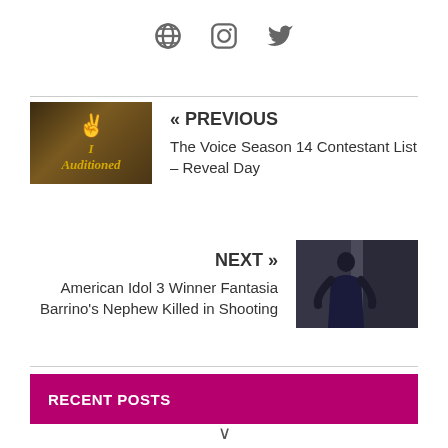[Figure (infographic): Social media icons: globe/website, Instagram, Twitter in gray]
[Figure (photo): Thumbnail image with gold cursive text 'I Auditioned' on dark background]
« PREVIOUS
The Voice Season 14 Contestant List – Reveal Day
NEXT »
American Idol 3 Winner Fantasia Barrino's Nephew Killed in Shooting
[Figure (photo): Thumbnail photo of woman in dark outfit against glittery background]
RECENT POSTS